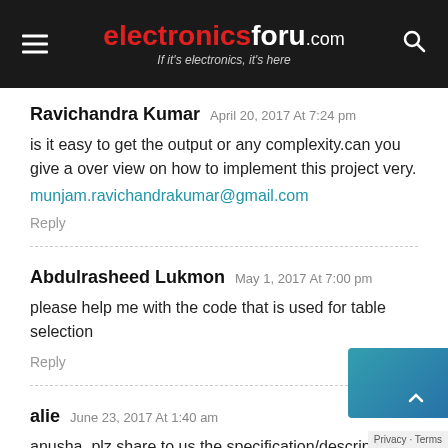electronicsforu.com — If it's electronics, it's here
Ravichandra Kumar April 20, 2017 At 7:24 pm
is it easy to get the output or any complexity.can you give a over view on how to implement this project very.
munjam.ravichandrakumar@gmail.com
Reply
Abdulrasheed Lukmon May 1, 2017 At 7:00 pm
please help me with the code that is used for table selection
Reply
alie June 23, 2017 At 1:40 am
anusha, plz share to us the specification/descrip the project components used